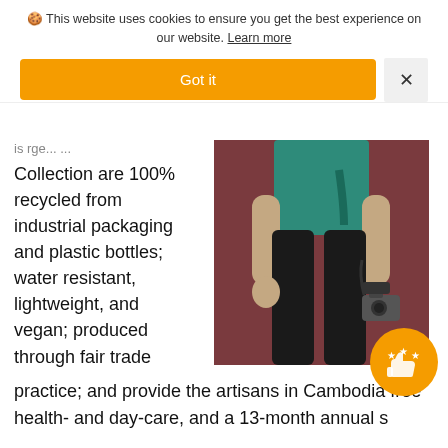🍪 This website uses cookies to ensure you get the best experience on our website. Learn more
Got it
is rge... ... ...
Collection are 100% recycled from industrial packaging and plastic bottles; water resistant, lightweight, and vegan; produced through fair trade practice; and provide the artisans in Cambodia free health- and day-care, and a 13-month annual s
[Figure (photo): Person wearing black pants and carrying a teal/green bag and a camera, standing against a dark red/maroon background]
Purpose + planet is very fashionable and reduc... ur carbon footprint has never been so stylish!